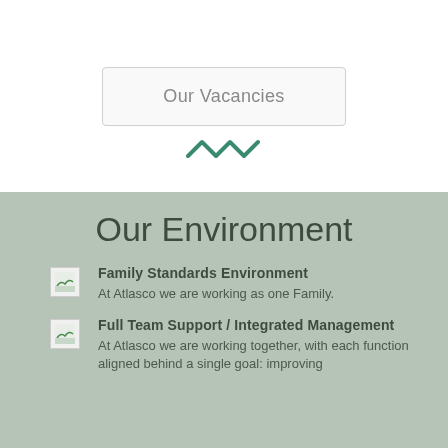Our Vacancies
[Figure (illustration): Green zigzag/wave decorative icon]
Our Environment
Family Standards Environment
At Atlasco we are working as one Family.
Full Team Support / Integrated Management
At Atlasco we are working together, with each function aligned behind a single goal: improving